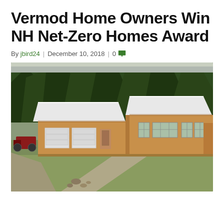Vermod Home Owners Win NH Net-Zero Homes Award
By jbird24 | December 10, 2018 | 0
[Figure (photo): Exterior photo of a Vermod modular home with white roof, tan/orange siding, two-car garage, and multiple windows, set in a rural landscape with green grass, gravel driveway, and pine forest in the background.]